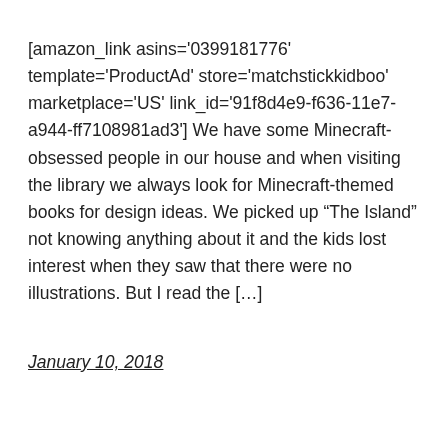[amazon_link asins='0399181776' template='ProductAd' store='matchstickkidboo' marketplace='US' link_id='91f8d4e9-f636-11e7-a944-ff7108981ad3'] We have some Minecraft-obsessed people in our house and when visiting the library we always look for Minecraft-themed books for design ideas. We picked up “The Island” not knowing anything about it and the kids lost interest when they saw that there were no illustrations. But I read the […]
January 10, 2018